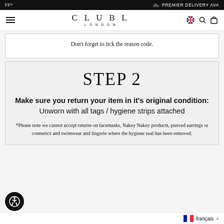OFF* | PREMIER DELIVERY AVA
CLUBL LONDON
Don't forget to tick the reason code.
STEP 2
Make sure you return your item in it's original condition: Unworn with all tags / hygiene strips attached
*Please note we cannot accept returns on facemasks, Nakey Nakey products, pierced earrings or cosmetics and swimwear and lingerie where the hygiene seal has been removed.
français